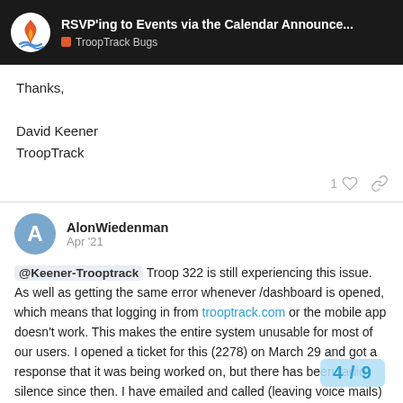RSVP'ing to Events via the Calendar Announce... | TroopTrack Bugs
Thanks,

David Keener
TroopTrack
AlonWiedenman Apr '21
@Keener-Trooptrack Troop 322 is still experiencing this issue. As well as getting the same error whenever /dashboard is opened, which means that logging in from trooptrack.com or the mobile app doesn't work. This makes the entire system unusable for most of our users. I opened a ticket for this (2278) on March 29 and got a response that it was being worked on, but there has been radio silence since then. I have emailed and called (leaving voice mails) several times a... any response. Can I please get some help
4 / 9